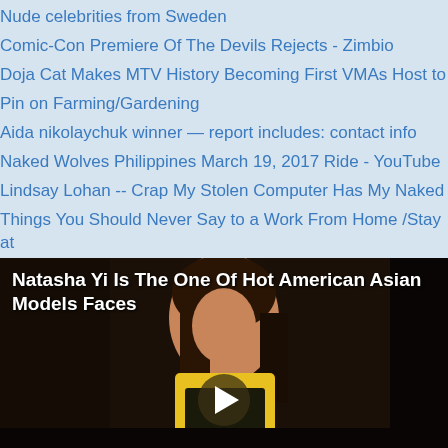Nude celebrities from Sweden
Comic-Con Premiere Of The Devils Rejects - Zimbio
Doja Cat Makes MTV History Becoming First VMAs Host to
Pin on Farming/Gardening
Aida nikolaychuk winner — report includes: contact info
Naked Wolves Philippines March 19, 2017 Ride - YouTube
Lindsay Lohan -- Crap My Stolen Computer Has My Naked
Things You Should Never Say to a Work From Home /Stay at
State: Ohio
[Figure (photo): Video thumbnail showing a woman in a yellow tank top with text overlay 'Natasha Yi Is The One Of Hot American Asian Models Faces' and a play button]